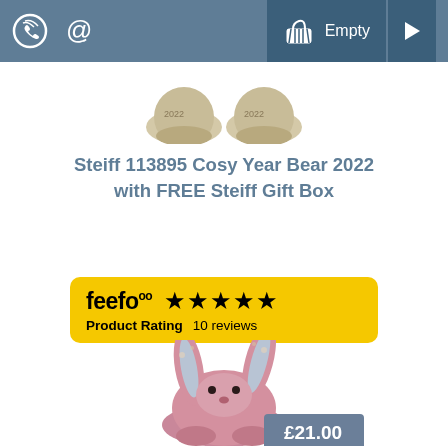Navigation header with phone, email icons and cart showing Empty
[Figure (photo): Top portion of a Steiff bear plush toy showing its feet/base, partially cropped at top of page]
Steiff 113895 Cosy Year Bear 2022 with FREE Steiff Gift Box
[Figure (infographic): Feefo product rating badge showing 5 stars and 10 reviews on yellow background]
[Figure (photo): Pink fluffy bunny plush toy (Jellycat style) with floral-patterned long ears, sitting position, with a price tag showing £21.00]